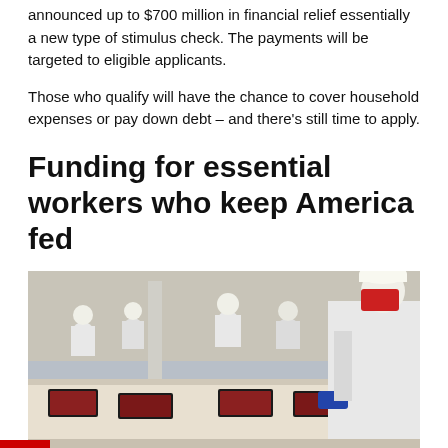announced up to $700 million in financial relief essentially a new type of stimulus check. The payments will be targeted to eligible applicants.
Those who qualify will have the chance to cover household expenses or pay down debt – and there's still time to apply.
Funding for essential workers who keep America fed
[Figure (photo): Workers in white protective suits and hard hats working on a meat processing line in an industrial facility. Workers are processing cuts of meat on a conveyor belt. One worker in the foreground wears a red face mask and blue gloves.]